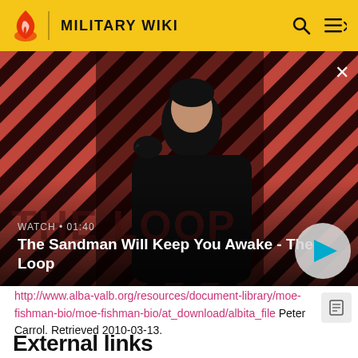MILITARY WIKI
[Figure (screenshot): Video thumbnail showing a dark-cloaked figure with a raven on shoulder against a red and dark diagonal striped background. Title overlay: WATCH • 01:40 / The Sandman Will Keep You Awake - The Loop. Play button on right.]
http://www.alba-valb.org/resources/document-library/moe-fishman-bio/moe-fishman-bio/at_download/albita_file Peter Carrol. Retrieved 2010-03-13.
External links